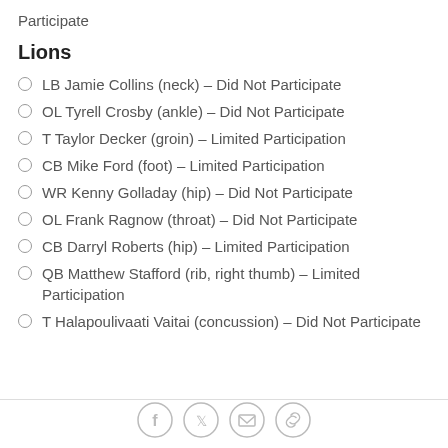Participate
Lions
LB Jamie Collins (neck) – Did Not Participate
OL Tyrell Crosby (ankle) – Did Not Participate
T Taylor Decker (groin) – Limited Participation
CB Mike Ford (foot) – Limited Participation
WR Kenny Golladay (hip) – Did Not Participate
OL Frank Ragnow (throat) – Did Not Participate
CB Darryl Roberts (hip) – Limited Participation
QB Matthew Stafford (rib, right thumb) – Limited Participation
T Halapoulivaati Vaitai (concussion) – Did Not Participate